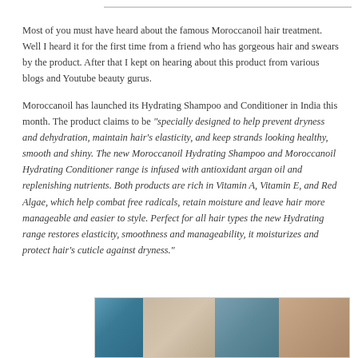Most of you must have heard about the famous Moroccanoil hair treatment. Well I heard it for the first time from a friend who has gorgeous hair and swears by the product. After that I kept on hearing about this product from various blogs and Youtube beauty gurus.
Moroccanoil has launched its Hydrating Shampoo and Conditioner in India this month. The product claims to be "specially designed to help prevent dryness and dehydration, maintain hair's elasticity, and keep strands looking healthy, smooth and shiny. The new Moroccanoil Hydrating Shampoo and Moroccanoil Hydrating Conditioner range is infused with antioxidant argan oil and replenishing nutrients. Both products are rich in Vitamin A, Vitamin E, and Red Algae, which help combat free radicals, retain moisture and leave hair more manageable and easier to style. Perfect for all hair types the new Hydrating range restores elasticity, smoothness and manageability, it moisturizes and protect hair's cuticle against dryness."
[Figure (photo): Partial view of product photos showing Moroccanoil hair products and possibly hair images, cropped at bottom of page]